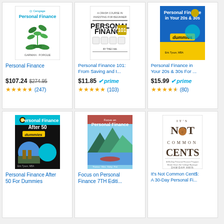[Figure (illustration): Book cover: Personal Finance by Garman & Forgue, white background with green plant growing from hands logo, Cengage publisher]
Personal Finance
$107.24  $274.95
(247)
[Figure (illustration): Book cover: Personal Finance 101, white/black newspaper style cover]
Personal Finance 101: From Saving and I...
$11.85  prime
(103)
[Figure (illustration): Book cover: Personal Finance in Your 20s & 30s For Dummies, blue and yellow cover with person using phone]
Personal Finance in Your 20s & 30s For ...
$15.99  prime
(80)
[Figure (illustration): Book cover: Personal Finance After 50 For Dummies, black cover with beach chairs photo]
Personal Finance After 50 For Dummies
[Figure (illustration): Book cover: Focus on Personal Finance 7TH Edition, blue mountain lake scene]
Focus on Personal Finance 7TH Editi...
[Figure (illustration): Book cover: It's Not Common Cents: A 30-Day Personal Finance book, white cover with penny]
It's Not Common Cent$: A 30-Day Personal Fi...